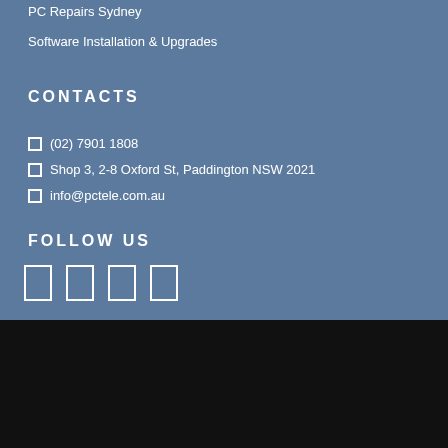PC Repairs Sydney
Software Installation & Upgrades
CONTACTS
(02) 7901 1808
Shop 3, 2-8 Oxford St, Paddington NSW 2021
info@pctele.com.au
FOLLOW US
[Figure (other): Four social media icons displayed as outlined rectangles]
Mac Repairs Sydney, Bondi, North Bondi, Darlington, Millers Point, Elizabeth Bay, Bellevue Hill, Zetland, Paddington, Darlinghurst, Double Bay, Surry Hills, Woollahra, Waverley, Rose Bay, Kensington, Randwick, Sydney © PC TELE 2017 - (02) 7901 1808